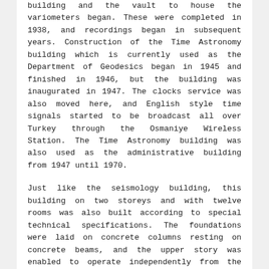building and the vault to house the variometers began. These were completed in 1938, and recordings began in subsequent years. Construction of the Time Astronomy building which is currently used as the Department of Geodesics began in 1945 and finished in 1946, but the building was inaugurated in 1947. The clocks service was also moved here, and English style time signals started to be broadcast all over Turkey through the Osmaniye Wireless Station. The Time Astronomy building was also used as the administrative building from 1947 until 1970.
Just like the seismology building, this building on two storeys and with twelve rooms was also built according to special technical specifications. The foundations were laid on concrete columns resting on concrete beams, and the upper story was enabled to operate independently from the vault. There are covered airing vents on the ceiling of each room in the vault. The floors of the clock room housing the pendulum was insulated at the foundation, and covered with a layer of glass. A layer of sand 20 cm thick was laid and pressed on